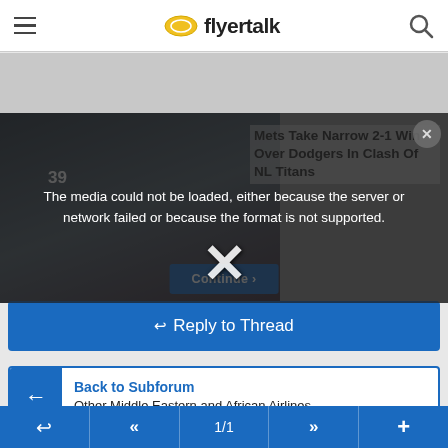flyertalk
[Figure (screenshot): Baseball players on field with jersey number 39 visible, dark overlay with media error message]
The media could not be loaded, either because the server or network failed or because the format is not supported.
Mets Take Narrow 2-1 Win Over Dodgers In Clash Of NL Titans
Reply to Thread
Back to Subforum
Other Middle Eastern and African Airlines
View Next Unread
Air Mauritius Refund
1/1